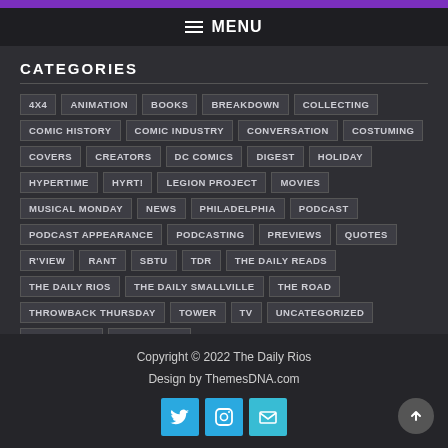MENU
CATEGORIES
4X4
ANIMATION
BOOKS
BREAKDOWN
COLLECTING
COMIC HISTORY
COMIC INDUSTRY
CONVERSATION
COSTUMING
COVERS
CREATORS
DC COMICS
DIGEST
HOLIDAY
HYPERTIME
HYRT!
LEGION PROJECT
MOVIES
MUSICAL MONDAY
NEWS
PHILADELPHIA
PODCAST
PODCAST APPEARANCE
PODCASTING
PREVIEWS
QUOTES
R'VIEW
RANT
SBTU
TDR
THE DAILY READS
THE DAILY RIOS
THE DAILY SMALLVILLE
THE ROAD
THROWBACK THURSDAY
TOWER
TV
UNCATEGORIZED
WEBCOMICS
WEDNESDAY
Copyright © 2022 The Daily Rios
Design by ThemesDNA.com